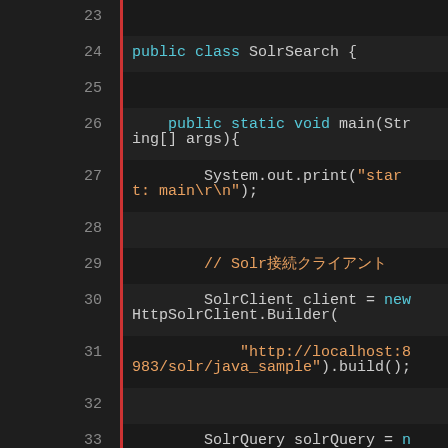[Figure (screenshot): Java code editor screenshot showing lines 23-36 of a SolrSearch class. Dark background IDE with cyan keywords, orange strings/comments. Lines show public class SolrSearch, public static void main, System.out.print, Solr comments, SolrClient initialization with HttpSolrClient.Builder, SolrQuery creation, and setFields call.]